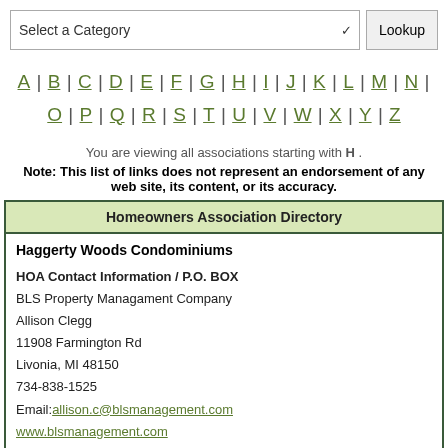Select a Category [dropdown] Lookup
A | B | C | D | E | F | G | H | I | J | K | L | M | N | O | P | Q | R | S | T | U | V | W | X | Y | Z
You are viewing all associations starting with H .
Note: This list of links does not represent an endorsement of any web site, its content, or its accuracy.
| Homeowners Association Directory |
| --- |
| Haggerty Woods Condominiums
HOA Contact Information / P.O. BOX
BLS Property Managament Company
Allison Clegg
11908 Farmington Rd
Livonia, MI 48150
734-838-1525
Email: allison.c@blsmanagement.com
www.blsmanagement.com |